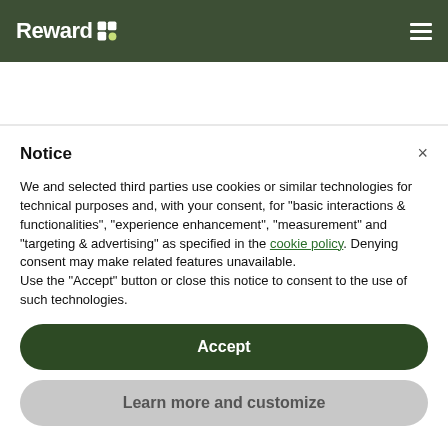Reward
my competitors
Notice
We and selected third parties use cookies or similar technologies for technical purposes and, with your consent, for “basic interactions & functionalities”, “experience enhancement”, “measurement” and “targeting & advertising” as specified in the cookie policy. Denying consent may make related features unavailable.
Use the “Accept” button or close this notice to consent to the use of such technologies.
Accept
Learn more and customize